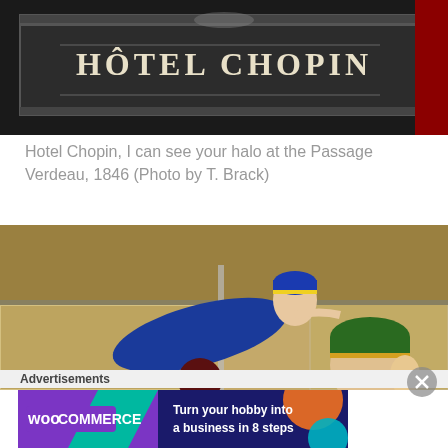[Figure (photo): Dark photograph of Hotel Chopin sign at Passage Verdeau, white serif text on dark background with metallic framing]
Hotel Chopin, I can see your halo at the Passage Verdeau, 1846 (Photo by T. Brack)
[Figure (photo): Close-up photo of decorative figurines in display cases — a woman in a blue swimsuit posed lying down with blue hat, and a man's head with green and gold hat visible in the lower right]
Advertisements
[Figure (infographic): WooCommerce advertisement banner — purple and teal background with WooCommerce logo and text: Turn your hobby into a business in 8 steps]